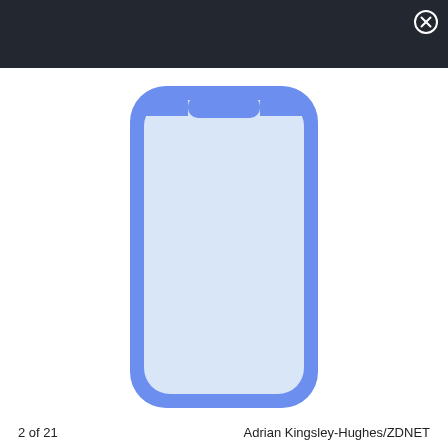[Figure (illustration): Dark header bar with close (X) button in top right corner]
[Figure (illustration): Blue outlined smartphone silhouette with rounded corners and a notch at the top, showing a light blue screen interior, on white background]
2 of 21   Adrian Kingsley-Hughes/ZDNET